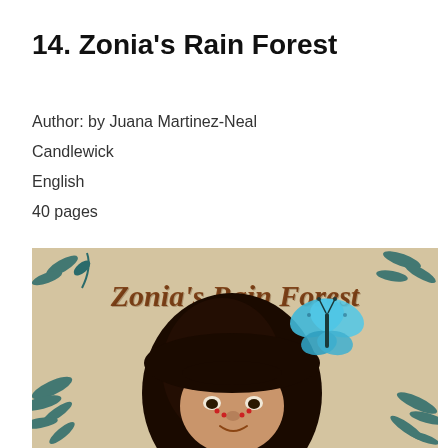14. Zonia's Rain Forest
Author: by Juana Martinez-Neal
Candlewick
English
40 pages
[Figure (illustration): Book cover of Zonia's Rain Forest showing a young girl with dark hair and bangs, red dot freckles on her cheeks, surrounded by tropical foliage and a blue morpho butterfly, with the title written in ornate brown lettering on a tan/beige background.]